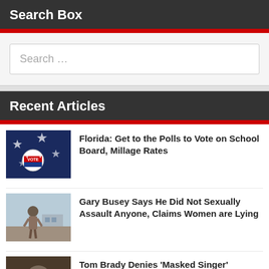Search Box
Search …
Recent Articles
Florida: Get to the Polls to Vote on School Board, Millage Rates
Gary Busey Says He Did Not Sexually Assault Anyone, Claims Women are Lying
Tom Brady Denies 'Masked Singer' Appearance